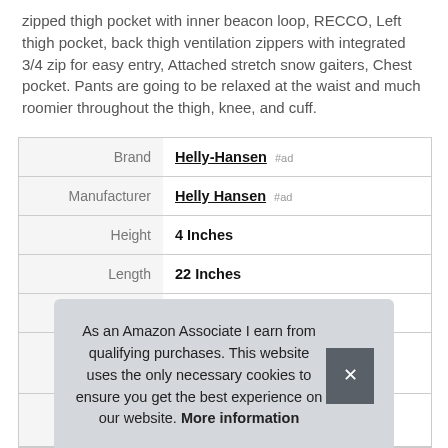zipped thigh pocket with inner beacon loop, RECCO, Left thigh pocket, back thigh ventilation zippers with integrated 3/4 zip for easy entry, Attached stretch snow gaiters, Chest pocket. Pants are going to be relaxed at the waist and much roomier throughout the thigh, knee, and cuff.
| Brand | Helly-Hansen #ad |
| Manufacturer | Helly Hansen #ad |
| Height | 4 Inches |
| Length | 22 Inches |
| Weight | 1.7 Pounds |
As an Amazon Associate I earn from qualifying purchases. This website uses the only necessary cookies to ensure you get the best experience on our website. More information